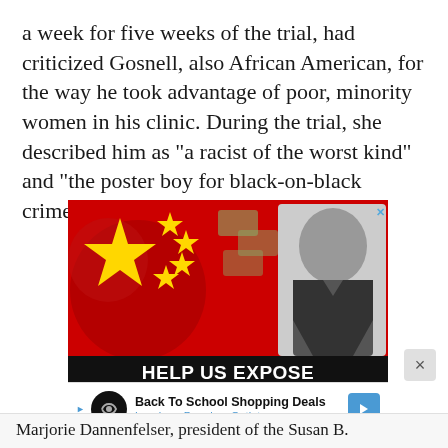a week for five weeks of the trial, had criticized Gosnell, also African American, for the way he took advantage of poor, minority women in his clinic. During the trial, she described him as "a racist of the worst kind" and "the poster boy for black-on-black crime."
[Figure (illustration): Advertisement banner showing Chinese flag imagery with large yellow stars on red background, a photo of a person in black and white on the right side, and bold text reading 'HELP US EXPOSE THE THREAT OF COMMUNIST CHINA'. Below is a smaller ad for 'Back To School Shopping Deals - Leesburg Premium Outlets'.]
Marjorie Dannenfelser, president of the Susan B.